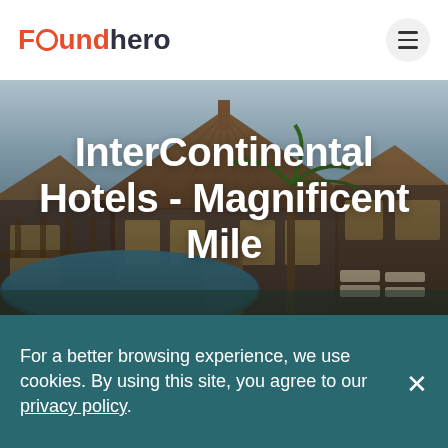[Figure (logo): Foundhero logo: 'Found' in orange/red, 'hero' in dark navy, with a circular 'o' element]
[Figure (photo): Photo of a luxury resort hotel with a thatched roof building, pool with lounge chairs and palm tree, warm sunset sky]
InterContinental Hotels - Magnificent Mile
For a better browsing experience, we use cookies. By using this site, you agree to our privacy policy.